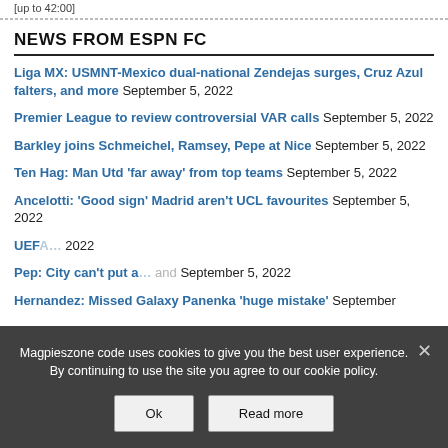[up to 42:00]
NEWS FROM ESPN FC
Liga MX: USMNT-Mexico dual-national Zendejas surges, Cruz Azul falters, and more  September 5, 2022
Premier League to review controversial VAR calls  September 5, 2022
Barkley joins Schmeichel, Ramsey, Pepe at Nice  September 5, 2022
Ten Hag: Man Utd 'far away' from top teams  September 5, 2022
Ancelotti: 'Good sign' Madrid aren't UCL favourites  September 5, 2022
UEFA…  2022
Pep: City can't put a…and  September 5, 2022
Hernandez: Missed Galaxy Panenka 'huge mistake'  September
Magpieszone code uses cookies to give you the best user experience. By continuing to use the site you agree to our cookie policy.